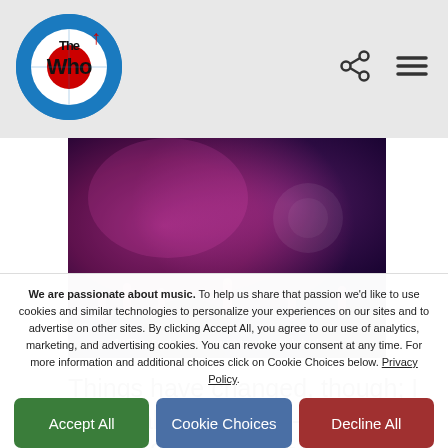The Who website header
[Figure (photo): Concert crowd photo with pink/purple stage lighting. Copyright watermark: ©William Snyder 2019 www.jointogetherwiththebook.com]
Things have changed, though; I heard about six sold-out shows in the 1996 here. I remember around 2004 doing four nights here, all sold out quickly. The next
We are passionate about music. To help us share that passion we'd like to use cookies and similar technologies to personalize your experiences on our sites and to advertise on other sites. By clicking Accept All, you agree to our use of analytics, marketing, and advertising cookies. You can revoke your consent at any time. For more information and additional choices click on Cookie Choices below. Privacy Policy.